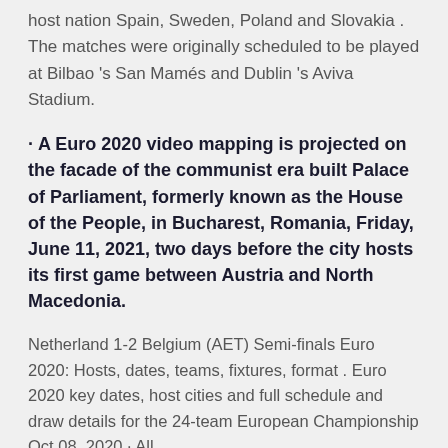host nation Spain, Sweden, Poland and Slovakia . The matches were originally scheduled to be played at Bilbao 's San Mamés and Dublin 's Aviva Stadium.
· A Euro 2020 video mapping is projected on the facade of the communist era built Palace of Parliament, formerly known as the House of the People, in Bucharest, Romania, Friday, June 11, 2021, two days before the city hosts its first game between Austria and North Macedonia.
Netherland 1-2 Belgium (AET) Semi-finals Euro 2020: Hosts, dates, teams, fixtures, format . Euro 2020 key dates, host cities and full schedule and draw details for the 24-team European Championship Oct 08, 2020 · All